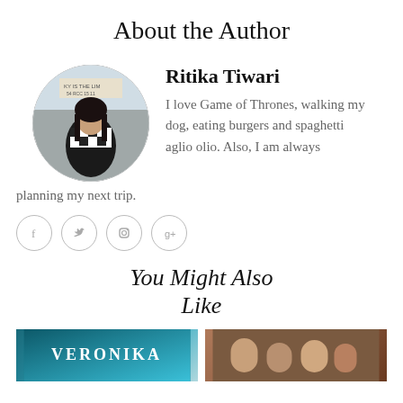About the Author
[Figure (photo): Circular profile photo of Ritika Tiwari standing outdoors in a black and white checkered scarf, with a sign partially visible behind her reading 'KY IS THE LIM...' and '54 RCC']
Ritika Tiwari
I love Game of Thrones, walking my dog, eating burgers and spaghetti aglio olio. Also, I am always planning my next trip.
[Figure (infographic): Row of four circular social media icons: Facebook (f), Twitter (bird), Instagram (camera), Google+ (g+)]
You Might Also Like
[Figure (photo): Book cover thumbnail showing 'VERONIKA' in teal/blue colors]
[Figure (photo): Thumbnail showing a group photo of people]